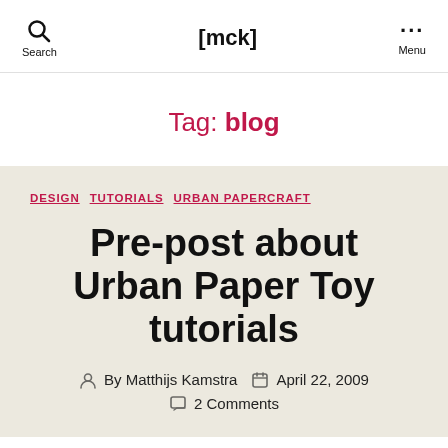[mck]
Tag: blog
DESIGN  TUTORIALS  URBAN PAPERCRAFT
Pre-post about Urban Paper Toy tutorials
By Matthijs Kamstra  April 22, 2009  2 Comments